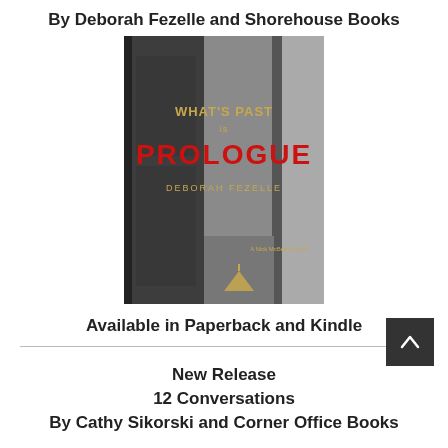By Deborah Fezelle and Shorehouse Books
[Figure (photo): Book cover of 'What's Past is Prologue' by Deborah Fezelle — a dark grayscale image of an open door in an abandoned room with a golden/red title text overlay. Subtitle: A Nick McBean Novel.]
Available in Paperback and Kindle
New Release
12 Conversations
By Cathy Sikorski and Corner Office Books